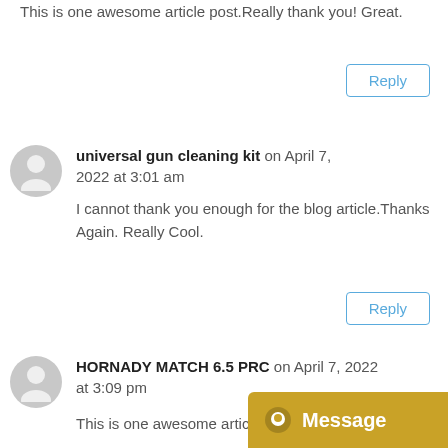This is one awesome article post.Really thank you! Great.
Reply
universal gun cleaning kit on April 7, 2022 at 3:01 am
I cannot thank you enough for the blog article.Thanks Again. Really Cool.
Reply
HORNADY MATCH 6.5 PRC on April 7, 2022 at 3:09 pm
This is one awesome article. Will read on...
[Figure (infographic): Message button with chat icon, gold/yellow background]